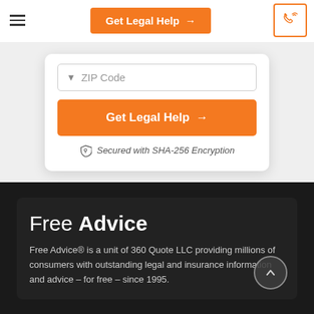Get Legal Help →
[Figure (screenshot): ZIP Code dropdown input field]
Get Legal Help →
Secured with SHA-256 Encryption
Free Advice
Free Advice® is a unit of 360 Quote LLC providing millions of consumers with outstanding legal and insurance information and advice – for free – since 1995.